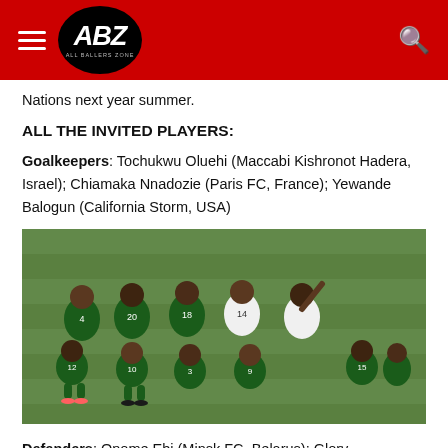ABZ ALL BALLERS ZONE
Nations next year summer.
ALL THE INVITED PLAYERS:
Goalkeepers: Tochukwu Oluehi (Maccabi Kishronot Hadera, Israel); Chiamaka Nnadozie (Paris FC, France); Yewande Balogun (California Storm, USA)
[Figure (photo): Group photo of Nigerian women's national football team players in green and white jerseys with numbers 4, 20, 18, 14, 12, 10, 3, 9, 15, and others, posing together on a football pitch.]
Defenders: Onome Ebi (Minsk FC, Belarus); Glory